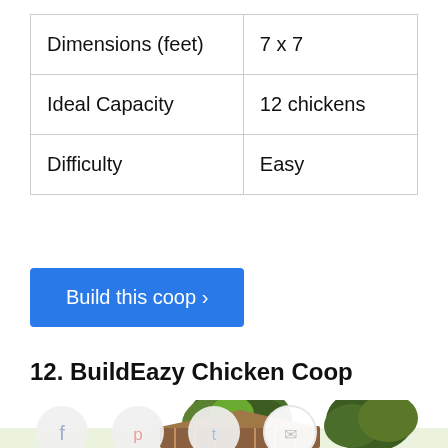| Dimensions (feet) | 7 x 7 |
| Ideal Capacity | 12 chickens |
| Difficulty | Easy |
Build this coop ›
12. BuildEazy Chicken Coop
[Figure (illustration): Illustration of a chicken coop with green bushes/trees around it, partially visible at the bottom of the page. Social sharing icons (Facebook, Pinterest, Twitter, Email) overlaid at the bottom.]